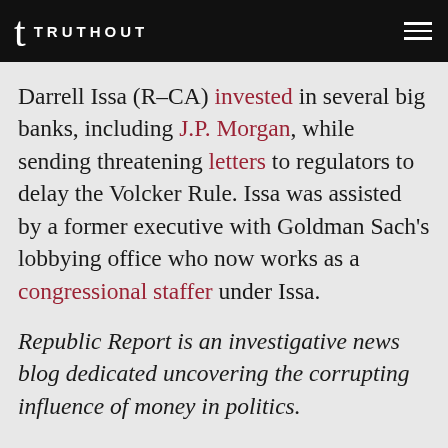TRUTHOUT
Darrell Issa (R-CA) invested in several big banks, including J.P. Morgan, while sending threatening letters to regulators to delay the Volcker Rule. Issa was assisted by a former executive with Goldman Sach’s lobbying office who now works as a congressional staffer under Issa.
Republic Report is an investigative news blog dedicated uncovering the corrupting influence of money in politics.